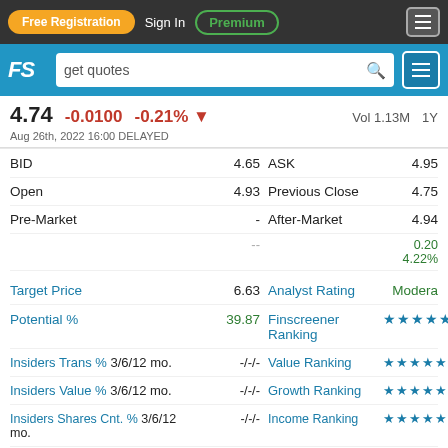Free Registration | Sign In | Premium
FS | get quotes
4.74  -0.0100  -0.21%  Vol 1.13M
Aug 26th, 2022 16:00 DELAYED
| Label | Value | Label2 | Value2 |
| --- | --- | --- | --- |
| BID | 4.65 | ASK | 4.95 |
| Open | 4.93 | Previous Close | 4.75 |
| Pre-Market | - | After-Market | 4.94 |
|  | -- |  | 0.20 4.22% |
| Target Price | 6.63 | Analyst Rating | Modera |
| Potential % | 39.87 | Finscreener Ranking | ★★★★★ |
| Insiders Trans % 3/6/12 mo. | -/-/- | Value Ranking | ★★★★★ |
| Insiders Value % 3/6/12 mo. | -/-/- | Growth Ranking | ★★★★★ |
| Insiders Shares Cnt. % 3/6/12 mo. | -/-/- | Income Ranking | ★★★★★ |
| Price Range Ratio 52W % | 44.30 | Earnings Rating |  |
| Market Cap | 1.35B | Earnings Date | 22m |